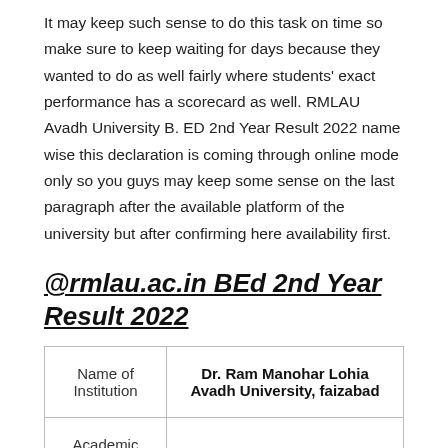It may keep such sense to do this task on time so make sure to keep waiting for days because they wanted to do as well fairly where students' exact performance has a scorecard as well. RMLAU Avadh University B. ED 2nd Year Result 2022 name wise this declaration is coming through online mode only so you guys may keep some sense on the last paragraph after the available platform of the university but after confirming here availability first.
@rmlau.ac.in BEd 2nd Year Result 2022
| Name of Institution | Dr. Ram Manohar Lohia Avadh University, faizabad |
| --- | --- |
| Academic Year | 2022 |